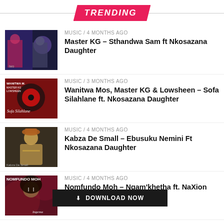TRENDING
MUSIC / 4 months ago — Master KG – Sthandwa Sam ft Nkosazana Daughter
MUSIC / 3 months ago — Wanitwa Mos, Master KG & Lowsheen – Sofa Silahlane ft. Nkosazana Daughter
MUSIC / 4 months ago — Kabza De Small – Ebusuku Nemini Ft Nkosazana Daughter
MUSIC / 4 months ago — Nomfundo Moh – Ngam'khetha ft. NaXion Cross & Beast Rsa
⬇ DOWNLOAD NOW